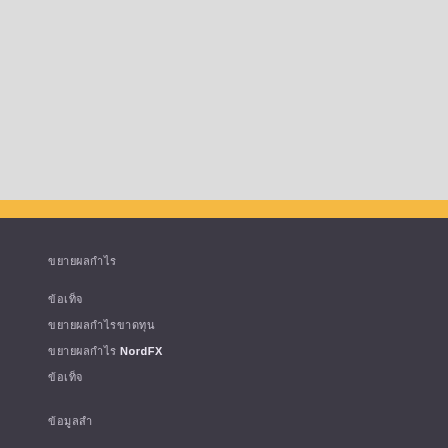[Figure (other): Top gray background banner area]
ขยายผลกำไร
ข้อเท็จ
ขยายผลกำไรขาดทุน
ขยายผลกำไร NordFX
ข้อเท็จ
ขยายผลกำไรขาดทุน
ข้อมูล
ข้อมูลสำ
ข้อมูลสำ